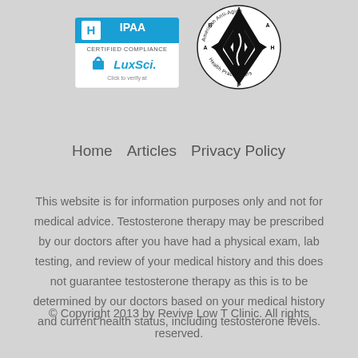[Figure (logo): HIPAA Certified Compliance LuxSci badge and American Anti-Aging Health Practitioners circular logo]
Home   Articles   Privacy Policy
This website is for information purposes only and not for medical advice. Testosterone therapy may be prescribed by our doctors after you have had a physical exam, lab testing, and review of your medical history and this does not guarantee testosterone therapy as this is to be determined by our doctors based on your medical history and current health status, including testosterone levels.
© Copyright 2013 by Revive Low T Clinic. All rights reserved.